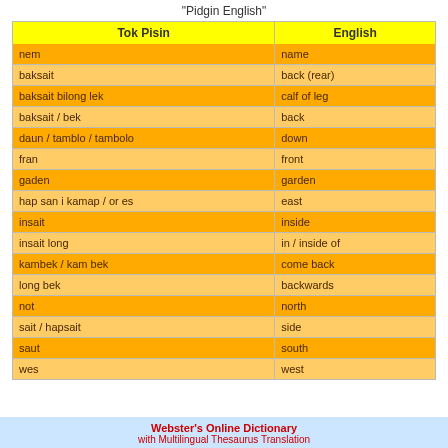"Pidgin English"
| Tok Pisin | English |
| --- | --- |
| nem | name |
| baksait | back (rear) |
| baksait bilong lek | calf of leg |
| baksait / bek | back |
| daun / tamblo / tambolo | down |
| fran | front |
| gaden | garden |
| hap san i kamap / or es | east |
| insait | inside |
| insait long | in / inside of |
| kambek / kam bek | come back |
| long bek | backwards |
| not | north |
| sait / hapsait | side |
| saut | south |
| wes | west |
Webster's Online Dictionary with Multilingual Thesaurus Translation